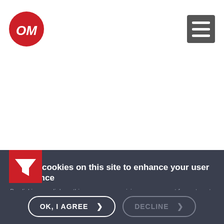[Figure (logo): Red circular logo with white stylized script letters 'OM' inside]
[Figure (illustration): Hamburger menu icon - three horizontal lines in a dark grey square]
[Figure (illustration): Red square with white funnel/filter icon]
We use cookies on this site to enhance your user experience
By clicking any link on this page you are giving your consent for us to set cookies.
More info ›
OK, I AGREE ›
DECLINE ›